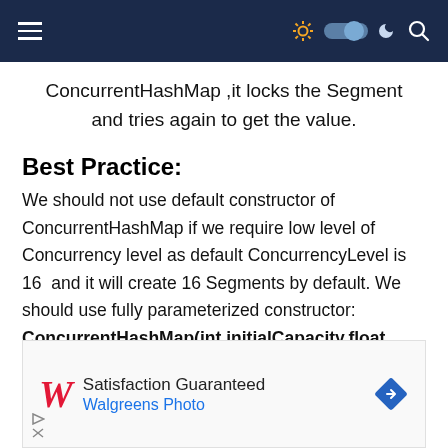≡  ☀ 🌑 ☾ 🔍
ConcurrentHashMap ,it locks the Segment and tries again to get the value.
Best Practice:
We should not use default constructor of ConcurrentHashMap if we require low level of Concurrency level as default ConcurrencyLevel is 16  and it will create 16 Segments by default. We should use fully parameterized constructor: ConcurrentHashMap(int initialCapacity,float
[Figure (other): Walgreens Photo advertisement banner with Walgreens logo, 'Satisfaction Guaranteed' text, 'Walgreens Photo' in blue, and a blue diamond navigation icon.]